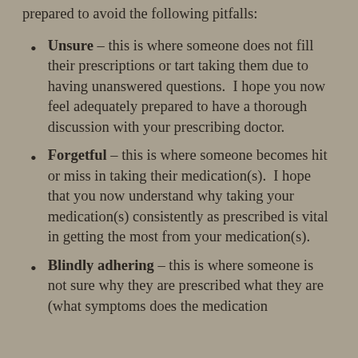prepared to avoid the following pitfalls:
Unsure – this is where someone does not fill their prescriptions or tart taking them due to having unanswered questions.  I hope you now feel adequately prepared to have a thorough discussion with your prescribing doctor.
Forgetful – this is where someone becomes hit or miss in taking their medication(s).  I hope that you now understand why taking your medication(s) consistently as prescribed is vital in getting the most from your medication(s).
Blindly adhering – this is where someone is not sure why they are prescribed what they are (what symptoms does the medication